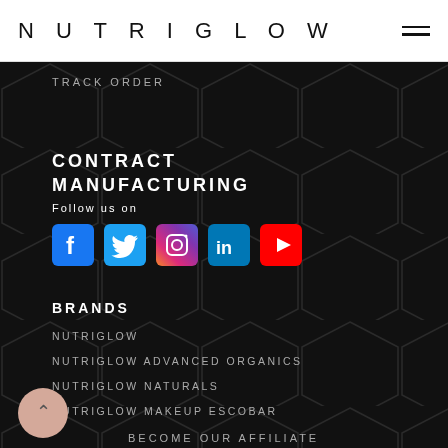NUTRIGLOW
TRACK ORDER
CONTRACT MANUFACTURING
Follow us on
[Figure (illustration): Social media icons row: Facebook (blue square with f), Twitter (light blue square with bird), Instagram (gradient square with camera), LinkedIn (blue square with in), YouTube (red square with play triangle)]
BRANDS
NUTRIGLOW
NUTRIGLOW ADVANCED ORGANICS
NUTRIGLOW NATURALS
NUTRIGLOW MAKEUP ESCOBAR
BECOME OUR AFFILIATE